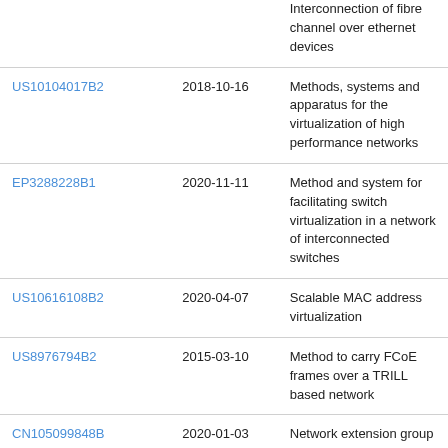|  |  | Interconnection of fibre channel over ethernet devices |
| US10104017B2 | 2018-10-16 | Methods, systems and apparatus for the virtualization of high performance networks |
| EP3288228B1 | 2020-11-11 | Method and system for facilitating switch virtualization in a network of interconnected switches |
| US10616108B2 | 2020-04-07 | Scalable MAC address virtualization |
| US8976794B2 | 2015-03-10 | Method to carry FCoE frames over a TRILL based network |
| CN105099848B | 2020-01-03 | Network extension group |
| US9258185B2 | 2016-02-09 | Fibre channel over Ethernet support in a |